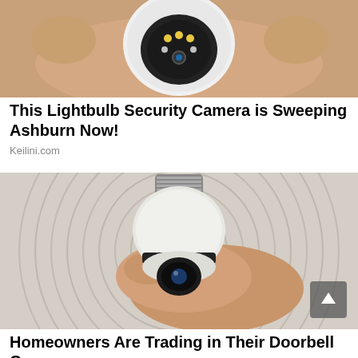[Figure (photo): A hand holding a small round white security camera device with LED lights on the front]
This Lightbulb Security Camera is Sweeping Ashburn Now!
Keilini.com
[Figure (photo): A hand holding a white lightbulb-shaped security camera against a woven circular patterned background, with a camera lens visible at the bottom of the bulb]
Homeowners Are Trading in Their Doorbell Cams